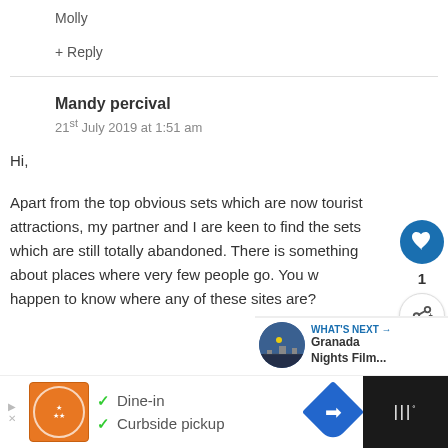Molly
+ Reply
Mandy percival
21st July 2019 at 1:51 am
Hi,
Apart from the top obvious sets which are now tourist attractions, my partner and I are keen to find the sets which are still totally abandoned. There is something about places where very few people go. You would happen to know where any of these sites are?
WHAT'S NEXT → Granada Nights Film...
✓ Dine-in ✓ Curbside pickup